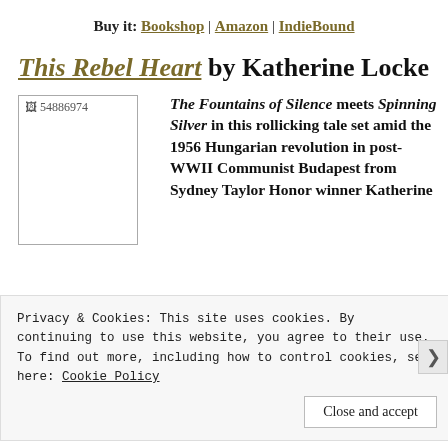Buy it: Bookshop | Amazon | IndieBound
This Rebel Heart by Katherine Locke
[Figure (photo): Book cover image placeholder showing '54886974']
The Fountains of Silence meets Spinning Silver in this rollicking tale set amid the 1956 Hungarian revolution in post-WWII Communist Budapest from Sydney Taylor Honor winner Katherine Locke
Privacy & Cookies: This site uses cookies. By continuing to use this website, you agree to their use.
To find out more, including how to control cookies, see here: Cookie Policy
Close and accept